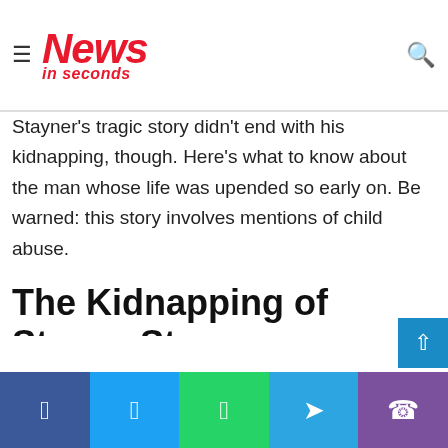≡ News in seconds 🔍
role of the Stayner family. One brother, Steven, was the victim of a kidnapping and child-abuse case, while another, Cary, later became a serial killer. Steven Stayner's tragic story didn't end with his kidnapping, though. Here's what to know about the man whose life was upended so early on. Be warned: this story involves mentions of child abuse.
The Kidnapping of Steven Stayner
Steven Stayner was the middle child of five siblings living with their parents in Merced, CA. In 1972, when he was just 7 years old, a stranger convinced him that his mother had asked him to pick Stayner up and bring him home. Stayner got in t…
Facebook  Twitter  WhatsApp  Telegram  Viber